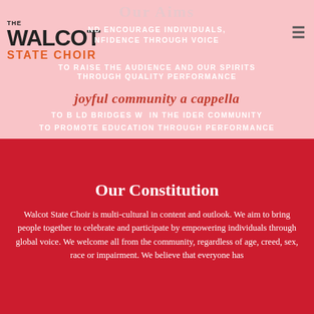Our Aims
[Figure (logo): The Walcot State Choir logo with black bold WALCOT text and orange STATE CHOIR text]
TO ENCOURAGE INDIVIDUALS, CONFIDENCE THROUGH VOICE
TO RAISE THE AUDIENCE AND OUR SPIRITS THROUGH QUALITY PERFORMANCE
joyful community a cappella
TO BUILD BRIDGES WITHIN THE WIDER COMMUNITY
TO PROMOTE EDUCATION THROUGH PERFORMANCE
Our Constitution
Walcot State Choir is multi-cultural in content and outlook. We aim to bring people together to celebrate and participate by empowering individuals through global voice. We welcome all from the community, regardless of age, creed, sex, race or impairment. We believe that everyone has